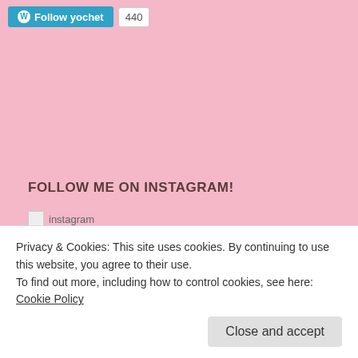Follow yochet  440
FOLLOW ME ON INSTAGRAM!
[Figure (other): Instagram image placeholder (broken image icon with alt text 'instagram')]
CALENDAR OF POSTS
February 2017
Privacy & Cookies: This site uses cookies. By continuing to use this website, you agree to their use.
To find out more, including how to control cookies, see here: Cookie Policy
Close and accept